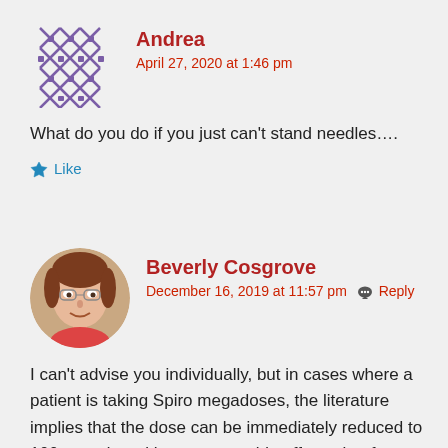[Figure (illustration): Purple geometric snowflake avatar for user Andrea]
Andrea
April 27, 2020 at 1:46 pm
What do you do if you just can't stand needles….
Like
[Figure (photo): Circular photo avatar of Beverly Cosgrove, a woman with glasses]
Beverly Cosgrove
December 16, 2019 at 11:57 pm
Reply
I can't advise you individually, but in cases where a patient is taking Spiro megadoses, the literature implies that the dose can be immediately reduced to 100mg a day without severe side effects, but from there, one should reduce slowly over a period of days or weeks —